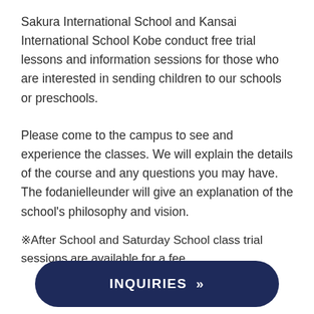Sakura International School and Kansai International School Kobe conduct free trial lessons and information sessions for those who are interested in sending children to our schools or preschools.
Please come to the campus to see and experience the classes. We will explain the details of the course and any questions you may have.
The fodanielleunder will give an explanation of the school's philosophy and vision.
※After School and Saturday School class trial sessions are available for a fee.
INQUIRIES »